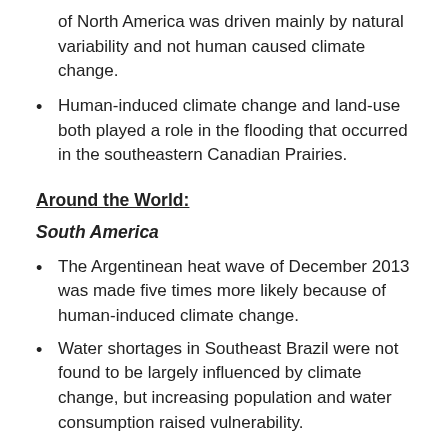of North America was driven mainly by natural variability and not human caused climate change.
Human-induced climate change and land-use both played a role in the flooding that occurred in the southeastern Canadian Prairies.
Around the World:
South America
The Argentinean heat wave of December 2013 was made five times more likely because of human-induced climate change.
Water shortages in Southeast Brazil were not found to be largely influenced by climate change, but increasing population and water consumption raised vulnerability.